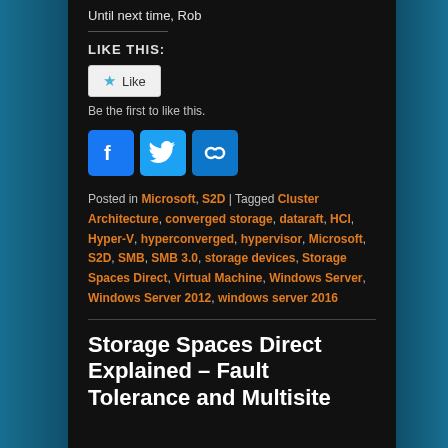Until next time, Rob
LIKE THIS:
Like
Be the first to like this.
[Figure (illustration): Social share buttons: Facebook (blue f icon), Twitter (blue bird icon), Link/share (blue chain link icon)]
Posted in Microsoft, S2D | Tagged Cluster Architecture, converged storage, dataraft, HCI, Hyper-V, hyperconverged, hypervisor, Microsoft, S2D, SMB, SMB 3.0, storage devices, Storage Spaces Direct, Virtual Machine, Windows Server, Windows Server 2012, windows server 2016
Storage Spaces Direct Explained – Fault Tolerance and Multisite